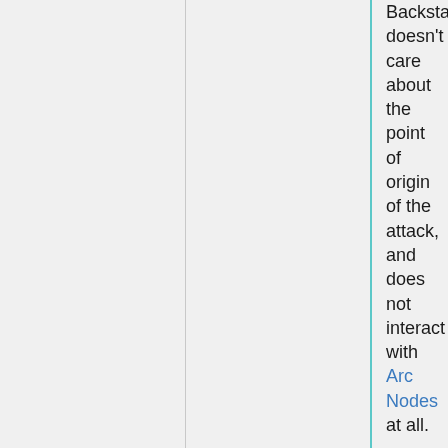Backstab doesn't care about the point of origin of the attack, and does not interact with Arc Nodes at all.
In other words, if your arc node is in the target's back arc & but the caster is not, then Backstab doesn't apply. And vice versa, if your arc node is in the front arc & you're in the back arc, then Backstab will apply.
Models with Circular Vision aren't immune to